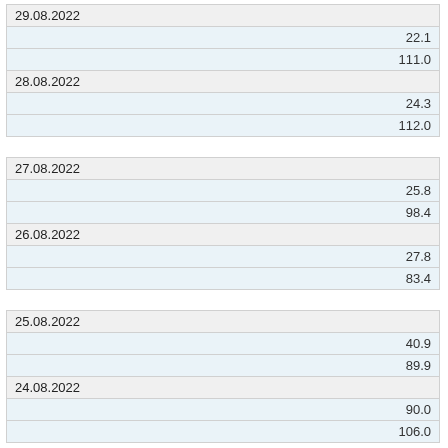| 29.08.2022 |
| 22.1 |
| 111.0 |
| 28.08.2022 |
| 24.3 |
| 112.0 |
| 27.08.2022 |
| 25.8 |
| 98.4 |
| 26.08.2022 |
| 27.8 |
| 83.4 |
| 25.08.2022 |
| 40.9 |
| 89.9 |
| 24.08.2022 |
| 90.0 |
| 106.0 |